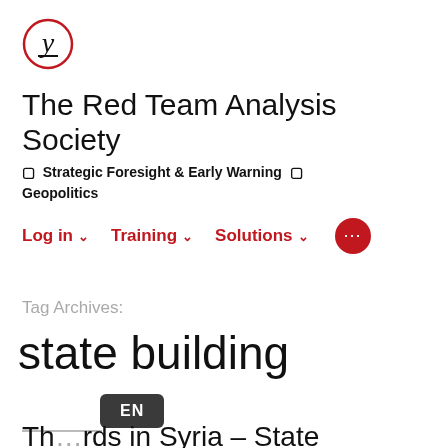[Figure (logo): Red Team Analysis Society logo: a circle with a stylized 'y' or calligraphic letter inside, red border]
The Red Team Analysis Society
◻ Strategic Foresight & Early Warning ◻ Geopolitics
Log in ∨   Training ∨   Solutions ∨   ···
Tag Archives:
state building
Th...rds in Syria – State